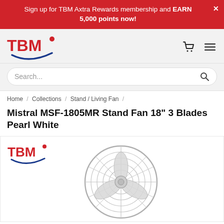Sign up for TBM Axtra Rewards membership and EARN 5,000 points now!
[Figure (logo): TBM logo with red text and blue swoosh]
Search...
Home / Collections / Stand / Living Fan /
Mistral MSF-1805MR Stand Fan 18" 3 Blades Pearl White
[Figure (photo): TBM logo above a stand fan image (Mistral MSF-1805MR) in pearl white]